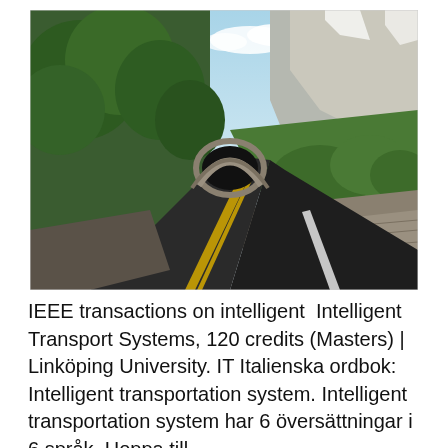[Figure (photo): A winding mountain road leading into a stone tunnel archway, flanked by green trees on the left and rocky mountains on the right, under a partly cloudy sky.]
IEEE transactions on intelligent  Intelligent Transport Systems, 120 credits (Masters) | Linköping University. IT Italienska ordbok: Intelligent transportation system. Intelligent transportation system har 6 översättningar i 6 språk. Hoppa till